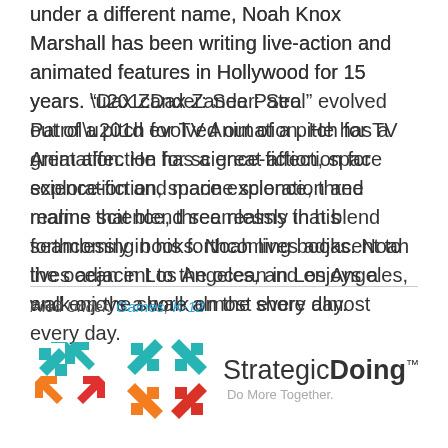under a different name, Noah Knox Marshall has been writing live-action and animated features in Hollywood for 15 years. “Dax Zander: Sea Patrol” evolved out of a pitch for TV Animation. He has a great affection for science-fiction, space exploration and marine science, three realms that blend seamlessly in his forthcoming books. Noah lives adjacent to the ocean in Los Angeles, and enjoys a walk on the shore almost every day.
Filed Under: Games, K-12
[Figure (logo): Strategic Doing logo with colorful four-quadrant arrow icon and text 'Strategic Doing - Do More Together.']